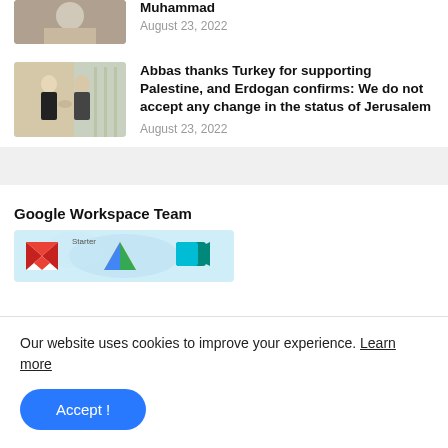[Figure (photo): Partial top article thumbnail showing a person, cropped]
Muhammad
August 23, 2022
[Figure (photo): Two men in suits shaking hands in what appears to be an official meeting room]
Abbas thanks Turkey for supporting Palestine, and Erdogan confirms: We do not accept any change in the status of Jerusalem
August 23, 2022
Google Workspace Team
[Figure (screenshot): Google Workspace banner showing Gmail, Drive, and Meet icons with the word Starter]
Our website uses cookies to improve your experience. Learn more
Accept !